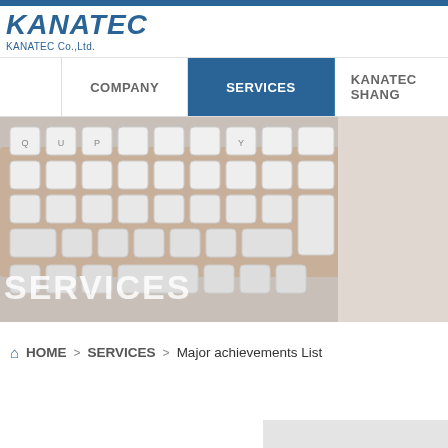[Figure (logo): KANATEC logo with italic bold blue text and subtitle 'KANATEC Co.,Ltd.']
COMPANY | SERVICES | KANATEC SHANG
[Figure (photo): Hero banner with photograph of hands typing on a white keyboard, with 'SERVICES' text overlay in white]
HOME > SERVICES > Major achievements List